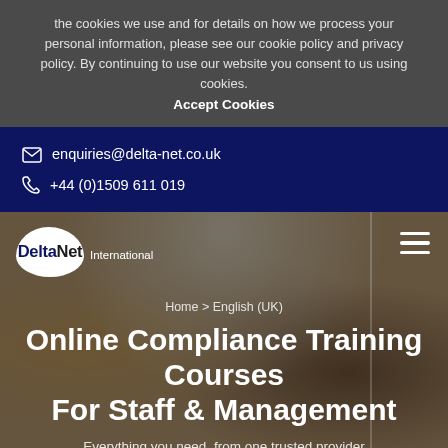the cookies we use and for details on how we process your personal information, please see our cookie policy and privacy policy. By continuing to use our website you consent to us using cookies.
Accept Cookies
enquiries@delta-net.co.uk
+44 (0)1509 611 019
[Figure (screenshot): DeltaNet International website header with logo (white bubble with DeltaNet text) on left, hamburger menu on right, over a photo background of people in a business meeting setting]
Home > English (UK)
Online Compliance Training Courses For Staff & Management
Everything you need, from one trusted provider